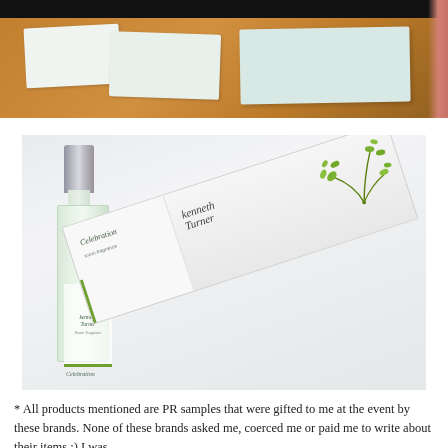[Figure (photo): Top portion of a photo showing white product boxes on a wooden table surface with black bar at top and pink wall in background]
[Figure (photo): Photo of Kenneth Turner Celebration room fragrance spray bottle standing upright next to its white packaging box lying diagonally, on a light grey/white surface]
* All products mentioned are PR samples that were gifted to me at the event by these brands. None of these brands asked me, coerced me or paid me to write about their items :) I was